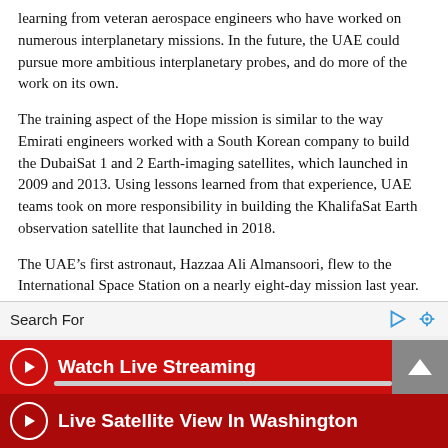learning from veteran aerospace engineers who have worked on numerous interplanetary missions. In the future, the UAE could pursue more ambitious interplanetary probes, and do more of the work on its own.
The training aspect of the Hope mission is similar to the way Emirati engineers worked with a South Korean company to build the DubaiSat 1 and 2 Earth-imaging satellites, which launched in 2009 and 2013. Using lessons learned from that experience, UAE teams took on more responsibility in building the KhalifaSat Earth observation satellite that launched in 2018.
The UAE's first astronaut, Hazzaa Ali Almansoori, flew to the International Space Station on a nearly eight-day mission last year.
Search For
Watch Live Streaming
Live Satellite View In Washington